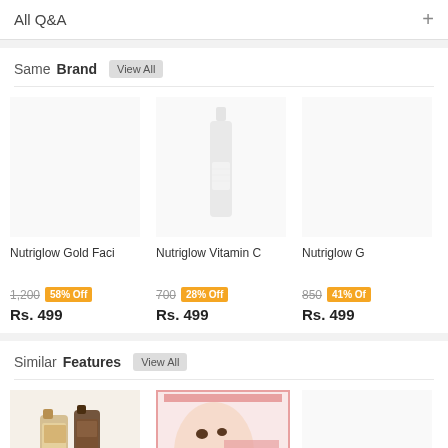All Q&A
Same Brand View All
[Figure (photo): Product image area - empty/white for Nutriglow Gold Faci]
Nutriglow Gold Faci
1,200  58% Off  Rs. 499
[Figure (photo): Nutriglow Vitamin C bottle product image]
Nutriglow Vitamin C
700  28% Off  Rs. 499
[Figure (photo): Product image area - empty/white for Nutriglow G]
Nutriglow G
850  41% Off  Rs. 499
Similar Features View All
[Figure (photo): Roop Ujala Dtan And product image - two bottles]
Roop Ujala Dtan And
[Figure (photo): Ayurjeet Wrinkle Fr product image - woman holding cream jar]
Ayurjeet Wrinkle Fr
Ayurjeet Da